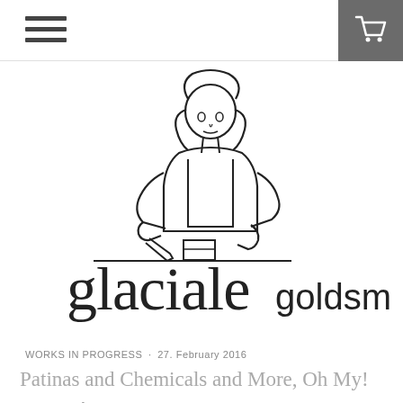[Figure (logo): Glaciale Goldsmith logo featuring a line-art illustration of a woman working at a jewelry bench, with the text 'glaciale goldsmith' in a large serif/sans-serif mixed font below]
Navigation bar with hamburger menu icon on the left and shopping cart icon on the right (dark grey box)
WORKS IN PROGRESS · 27. February 2016
Patinas and Chemicals and More, Oh My!
A couple of us here at Jewel Envy have doing a little